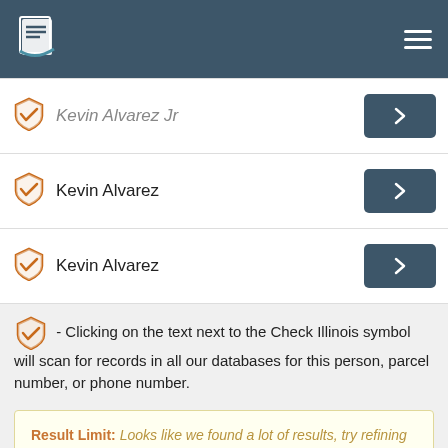Check Illinois — navigation header
Kevin Alvarez Jr (partially visible)
Kevin Alvarez
Kevin Alvarez
- Clicking on the text next to the Check Illinois symbol will scan for records in all our databases for this person, parcel number, or phone number.
Result Limit: Looks like we found a lot of results, try refining your search to see more records..
Other Searches for Alvarez